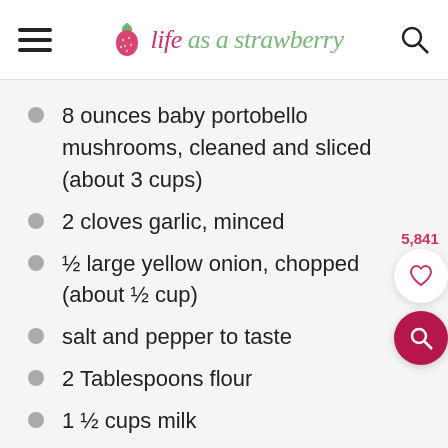life as a strawberry
8 ounces baby portobello mushrooms, cleaned and sliced (about 3 cups)
2 cloves garlic, minced
½ large yellow onion, chopped (about ½ cup)
salt and pepper to taste
2 Tablespoons flour
1 ½ cups milk
⅔ cup shredded parmesan cheese